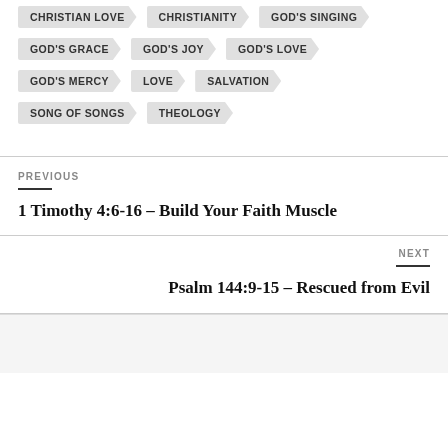CHRISTIAN LOVE
CHRISTIANITY
GOD'S SINGING
GOD'S GRACE
GOD'S JOY
GOD'S LOVE
GOD'S MERCY
LOVE
SALVATION
SONG OF SONGS
THEOLOGY
PREVIOUS
1 Timothy 4:6-16 – Build Your Faith Muscle
NEXT
Psalm 144:9-15 – Rescued from Evil